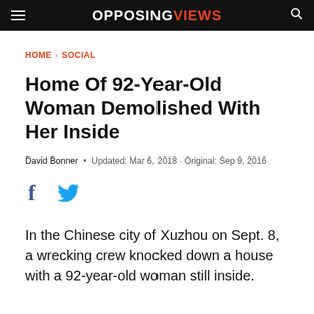OPPOSING VIEWS
HOME > SOCIAL
Home Of 92-Year-Old Woman Demolished With Her Inside
David Bonner • Updated: Mar 6, 2018 · Original: Sep 9, 2016
[Figure (other): Facebook and Twitter social share icons]
In the Chinese city of Xuzhou on Sept. 8, a wrecking crew knocked down a house with a 92-year-old woman still inside.